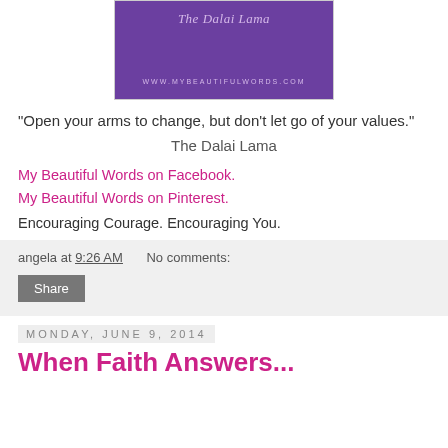[Figure (illustration): Purple card with italic script text reading 'The Dalai Lama' and URL 'WWW.MYBEAUTIFULWORDS.COM' in light purple on a purple background]
"Open your arms to change, but don't let go of your values."
The Dalai Lama
My Beautiful Words on Facebook.
My Beautiful Words on Pinterest.
Encouraging Courage. Encouraging You.
angela at 9:26 AM    No comments:
Share
Monday, June 9, 2014
When Faith Answers...